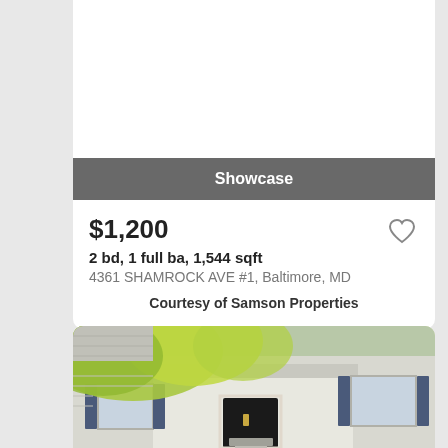[Figure (photo): White card with empty image area at top]
Showcase
$1,200
2 bd, 1 full ba, 1,544 sqft
4361 SHAMROCK AVE #1, Baltimore, MD
Courtesy of Samson Properties
[Figure (photo): Exterior photo of a house with white siding, covered porch, and bright yellow-green foliage in the foreground]